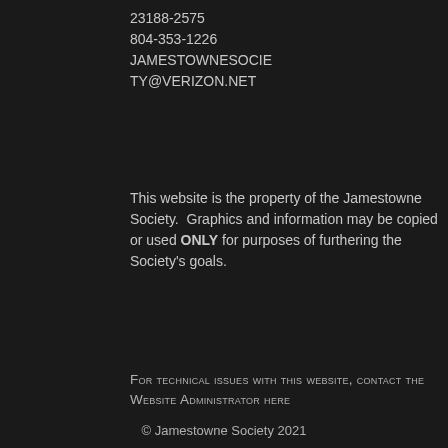23188-2575
804-353-1226
JAMESTOWNESOCIETY@VERIZON.NET
This website is the property of the Jamestowne Society.  Graphics and information may be copied or used ONLY for purposes of furthering the Society's goals.
For technical issues with this website, contact the Website Administrator here
© Jamestowne Society 2021